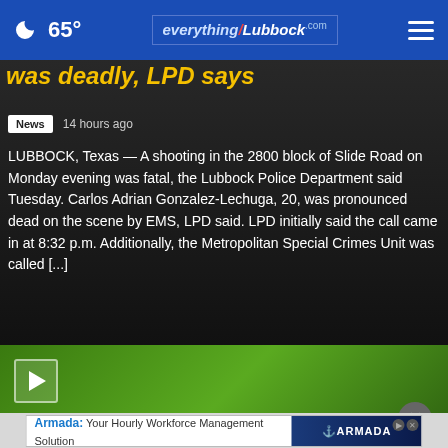65° everything/Lubbock.com
was deadly, LPD says
News  14 hours ago
LUBBOCK, Texas — A shooting in the 2800 block of Slide Road on Monday evening was fatal, the Lubbock Police Department said Tuesday. Carlos Adrian Gonzalez-Lechuga, 20, was pronounced dead on the scene by EMS, LPD said. LPD initially said the call came in at 8:32 p.m. Additionally, the Metropolitan Special Crimes Unit was called [...]
[Figure (screenshot): Video player with green background and play button in upper left, close X button in lower right]
[Figure (screenshot): Advertisement banner: Armada: Your Hourly Workforce Management Solution with device imagery and Armada logo]